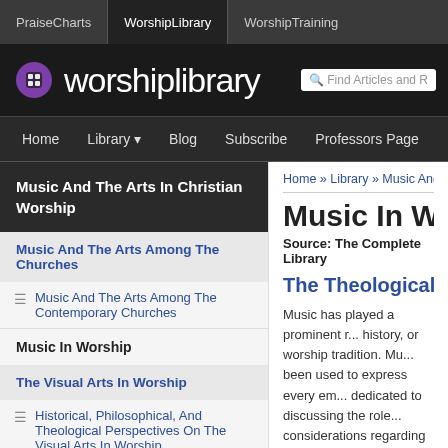PraiseCharts | WorshipLibrary | WorshipTraining
[Figure (logo): WorshipLibrary logo with purple globe icon and white text on dark background]
Home | Library | Blog | Subscribe | Professors Page
Music And The Arts In Christian Worship
Music And The Arts Among The Churches
Music And The Arts Among The Contemporary Churches
Music In Worship
The Visual Arts In Worship
Historical, Philosophical, And Theological Perspectives On The Visual Arts In Worship
The Worship Environment
The Primary Visual Arts For Worship
Home » Library » Music And Th...
Music In Worsh...
Source: The Complete Library
The Theological Fou...
Music has played a prominent r... history, or worship tradition. Mu... been used to express every em... dedicated to discussing the role... considerations regarding music... worship is not an end in itself. R...